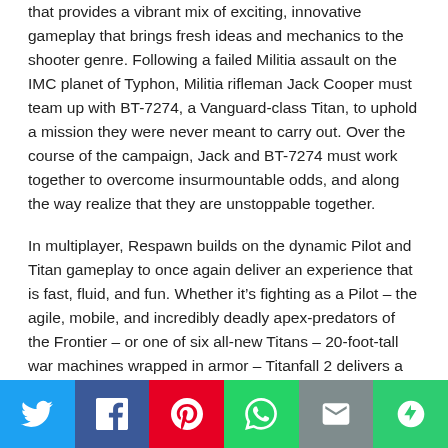that provides a vibrant mix of exciting, innovative gameplay that brings fresh ideas and mechanics to the shooter genre. Following a failed Militia assault on the IMC planet of Typhon, Militia rifleman Jack Cooper must team up with BT-7274, a Vanguard-class Titan, to uphold a mission they were never meant to carry out. Over the course of the campaign, Jack and BT-7274 must work together to overcome insurmountable odds, and along the way realize that they are unstoppable together.
In multiplayer, Respawn builds on the dynamic Pilot and Titan gameplay to once again deliver an experience that is fast, fluid, and fun. Whether it's fighting as a Pilot – the agile, mobile, and incredibly deadly apex-predators of the Frontier – or one of six all-new Titans – 20-foot-tall war machines wrapped in armor – Titanfall 2 delivers a deep, robust experience that is unmatched. Titanfall 2 also introduces Networks, an in-game social hub that serves as player's home base during multiplayer. Making it fast and easy to play with
[Figure (infographic): Social sharing bar with icons: Twitter (blue), Facebook (dark blue), Pinterest (red), WhatsApp (green), Email (grey), More (green)]